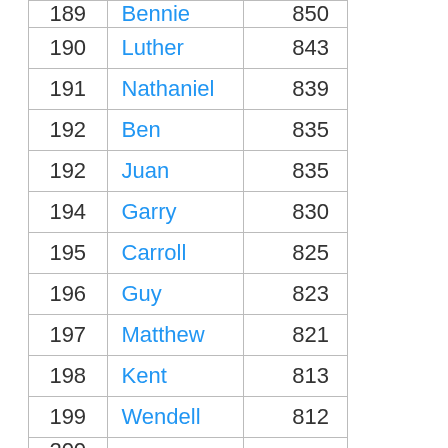| Rank | Name | Count |
| --- | --- | --- |
| 189 | Bennie | 850 |
| 190 | Luther | 843 |
| 191 | Nathaniel | 839 |
| 192 | Ben | 835 |
| 192 | Juan | 835 |
| 194 | Garry | 830 |
| 195 | Carroll | 825 |
| 196 | Guy | 823 |
| 197 | Matthew | 821 |
| 198 | Kent | 813 |
| 199 | Wendell | 812 |
| 200 | ... | ... |